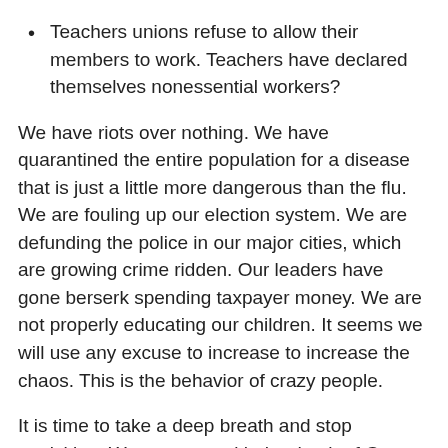Teachers unions refuse to allow their members to work. Teachers have declared themselves nonessential workers?
We have riots over nothing. We have quarantined the entire population for a disease that is just a little more dangerous than the flu. We are fouling up our election system. We are defunding the police in our major cities, which are growing crime ridden. Our leaders have gone berserk spending taxpayer money. We are not properly educating our children. It seems we will use any excuse to increase to increase the chaos. This is the behavior of crazy people.
It is time to take a deep breath and stop panicking. We can start with the death of George Floyd. We can consider what happened to that poor man. Did